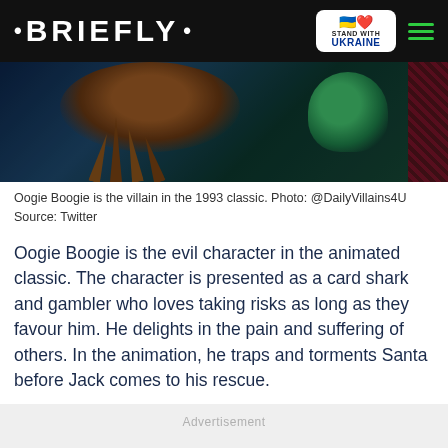• BRIEFLY •
[Figure (photo): Dark scene from The Nightmare Before Christmas showing Oogie Boogie's lair with a spiked table/wheel and green character]
Oogie Boogie is the villain in the 1993 classic. Photo: @DailyVillains4U
Source: Twitter
Oogie Boogie is the evil character in the animated classic. The character is presented as a card shark and gambler who loves taking risks as long as they favour him. He delights in the pain and suffering of others. In the animation, he traps and torments Santa before Jack comes to his rescue.
Advertisement